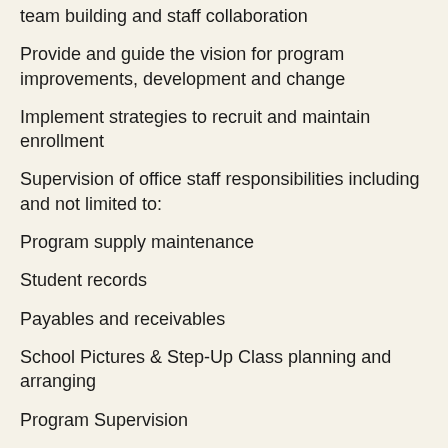team building and staff collaboration
Provide and guide the vision for program improvements, development and change
Implement strategies to recruit and maintain enrollment
Supervision of office staff responsibilities including and not limited to:
Program supply maintenance
Student records
Payables and receivables
School Pictures & Step-Up Class planning and arranging
Program Supervision